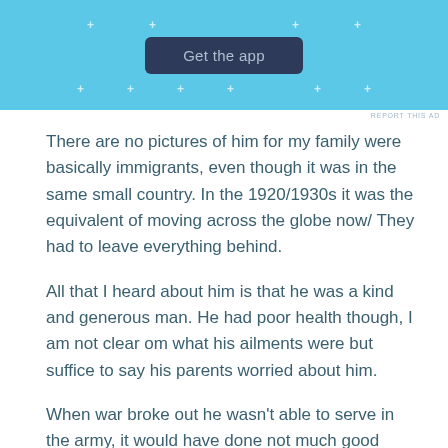[Figure (screenshot): Blue advertisement banner with a dark navy 'Get the app' button and decorative plus marks]
There are no pictures of him for my family were basically immigrants, even though it was in the same small country. In the 1920/1930s it was the equivalent of moving across the globe now/ They had to leave everything behind.
All that I heard about him is that he was a kind and generous man. He had poor health though, I am not clear om what his ailments were but suffice to say his parents worried about him.
When war broke out he wasn't able to serve in the army, it would have done not much good anyway. But he did his bit as much as he could.
He did not join any organized resistance group but he